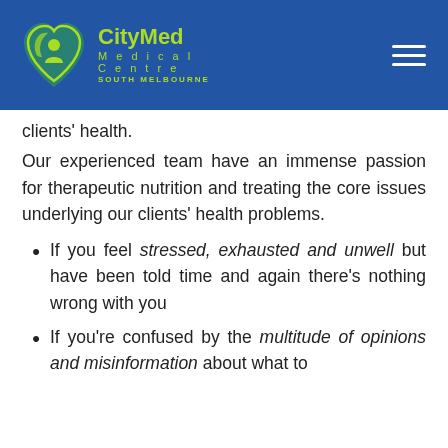CityMed Medical Centre South Melbourne
clients' health.
Our experienced team have an immense passion for therapeutic nutrition and treating the core issues underlying our clients' health problems.
If you feel stressed, exhausted and unwell but have been told time and again there's nothing wrong with you
If you're confused by the multitude of opinions and misinformation about what to